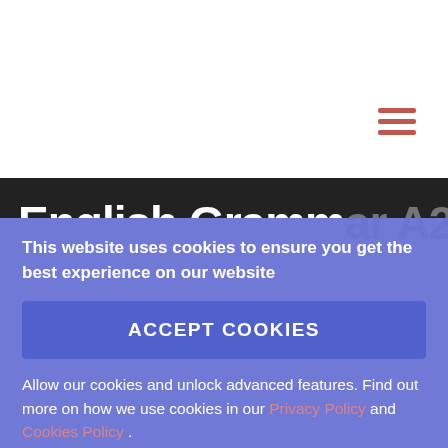[Figure (other): Hamburger menu icon with three horizontal red/pink lines in the top-right area of the header]
English Grammar A2
This website uses cookies to ensure you get the best experience on our website
ACCEPT COOKIES
Allow our cookies and unlock advanced features. Find out more on how we use cookies in our Privacy Policy and Cookies Policy .